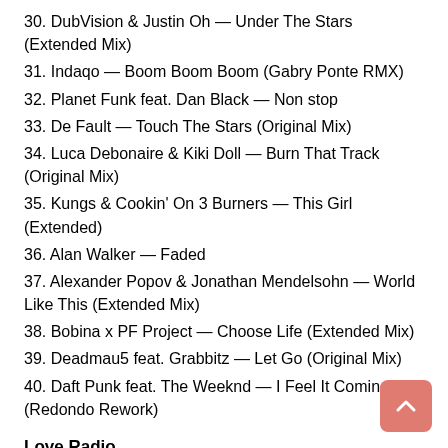30. DubVision & Justin Oh — Under The Stars (Extended Mix)
31. Indaqo — Boom Boom Boom (Gabry Ponte RMX)
32. Planet Funk feat. Dan Black — Non stop
33. De Fault — Touch The Stars (Original Mix)
34. Luca Debonaire & Kiki Doll — Burn That Track (Original Mix)
35. Kungs & Cookin' On 3 Burners — This Girl (Extended)
36. Alan Walker — Faded
37. Alexander Popov & Jonathan Mendelsohn — World Like This (Extended Mix)
38. Bobina x PF Project — Choose Life (Extended Mix)
39. Deadmau5 feat. Grabbitz — Let Go (Original Mix)
40. Daft Punk feat. The Weeknd — I Feel It Coming (Redondo Rework)
Love Radio
01. Clean Bandit & Sean Paul & Anne-Marie — Rockabye
02. Макс Барских — Туманы
03. Calvin Harris — My Way